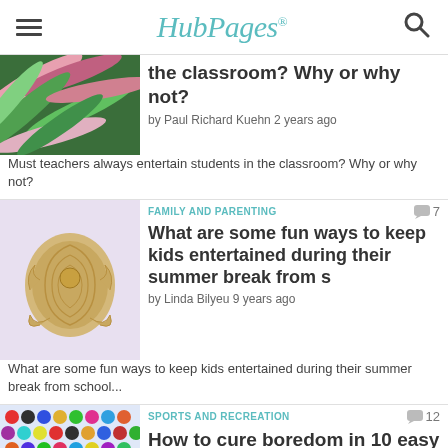HubPages
the classroom? Why or why not?
by Paul Richard Kuehn 2 years ago
Must teachers always entertain students in the classroom?  Why or why not?
FAMILY AND PARENTING
What are some fun ways to keep kids entertained during their summer break from s
by Linda Bilyeu 9 years ago
What are some fun ways to keep kids entertained during their summer break from school...
SPORTS AND RECREATION
How to cure boredom in 10 easy steps